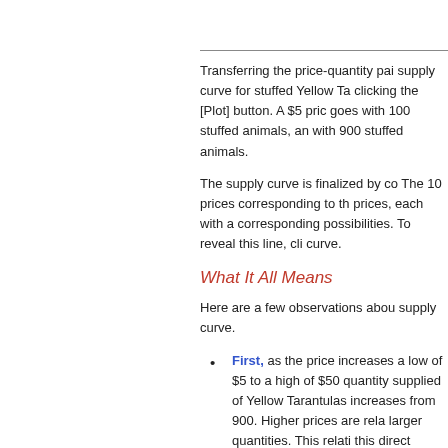Transferring the price-quantity pairs to a supply curve for stuffed Yellow Tarantulas by clicking the [Plot] button. A $5 price goes with 100 stuffed animals, and a $50 price goes with 900 stuffed animals.
The supply curve is finalized by connecting the dots. The 10 prices corresponding to the 10 supply prices, each with a corresponding quantity, generate 10 possibilities. To reveal this line, click to see the supply curve.
What It All Means
Here are a few observations about the supply curve.
First, as the price increases from a low of $5 to a high of $50, the quantity supplied of Yellow Tarantulas increases from 0 to 900. Higher prices are related to larger quantities. This relation is called this direct relation between supply price and quantity